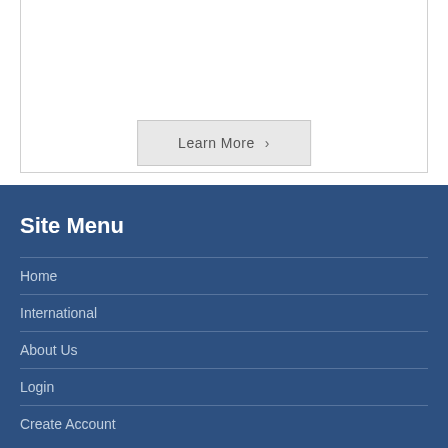Learn More >
Site Menu
Home
International
About Us
Login
Create Account